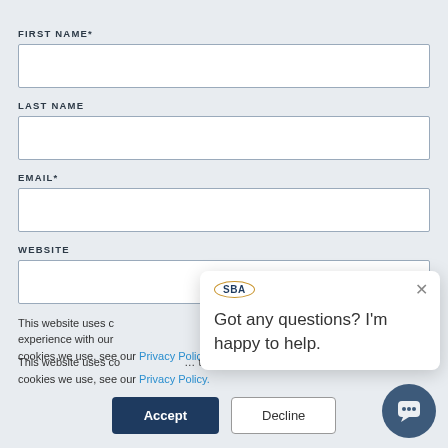FIRST NAME*
LAST NAME
EMAIL*
WEBSITE
This website uses cookies to improve your experience with our site. For information about the cookies we use, see our Privacy Policy.
Accept
Decline
[Figure (screenshot): SBA chat popup with message: Got any questions? I'm happy to help.]
[Figure (other): Chat bubble button icon]